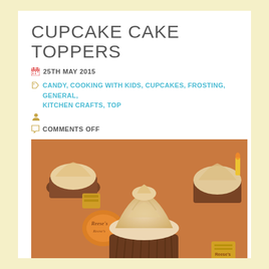CUPCAKE CAKE TOPPERS
25TH MAY 2015
CANDY, COOKING WITH KIDS, CUPCAKES, FROSTING, GENERAL, KITCHEN CRAFTS, TOP
COMMENTS OFF
[Figure (photo): Close-up photo of cupcakes with swirled cream frosting in chocolate cup liners, surrounded by Reese's peanut butter cups and candy wrappers]